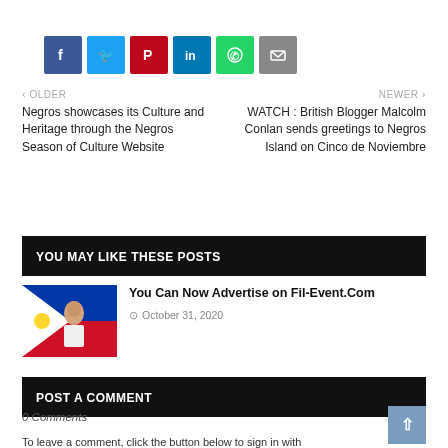[Figure (infographic): Social share buttons: Facebook (blue), Twitter (light blue), Pinterest (red), LinkedIn (dark blue), WhatsApp (green), Email (gray)]
< OLDER
Negros showcases its Culture and Heritage through the Negros Season of Culture Website
NEWER >
WATCH : British Blogger Malcolm Conlan sends greetings to Negros Island on Cinco de Noviembre
YOU MAY LIKE THESE POSTS
[Figure (photo): Photo of a man in front of a Philippine flag]
You Can Now Advertise on Fil-Event.Com
October 31, 2020
POST A COMMENT
0 Comments
To leave a comment, click the button below to sign in with